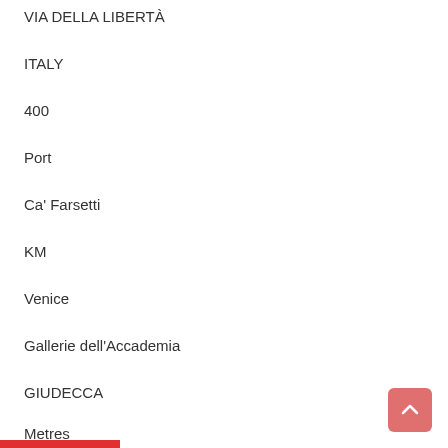VIA DELLA LIBERTÀ
ITALY
400
Port
Ca' Farsetti
KM
Venice
Gallerie dell'Accademia
GIUDECCA
450
Metres